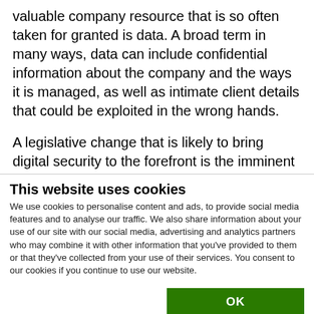valuable company resource that is so often taken for granted is data. A broad term in many ways, data can include confidential information about the company and the ways it is managed, as well as intimate client details that could be exploited in the wrong hands.
A legislative change that is likely to bring digital security to the forefront is the imminent General Data Protection Regulation (GDPR), sent to us courtesy of
This website uses cookies
We use cookies to personalise content and ads, to provide social media features and to analyse our traffic. We also share information about your use of our site with our social media, advertising and analytics partners who may combine it with other information that you've provided to them or that they've collected from your use of their services. You consent to our cookies if you continue to use our website.